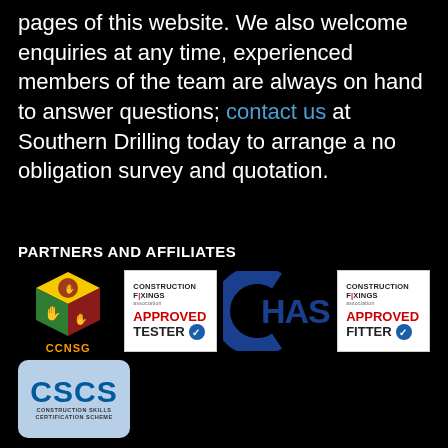pages of this website. We also welcome enquiries at any time, experienced members of the team are always on hand to answer questions; contact us at Southern Drilling today to arrange a no obligation survey and quotation.
PARTNERS AND AFFILIATES
[Figure (logo): CCNSG logo - colorful cube with hand symbols]
[Figure (logo): Construction Fixings Association - Approved Tester badge]
[Figure (logo): CHAS logo - blue arc with HAS text]
[Figure (logo): Construction Fixings Association - Approved Fitter badge]
[Figure (logo): CSCS Construction Skills Certification Scheme logo]